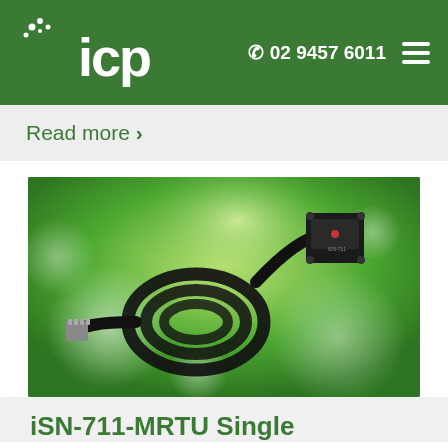icp 02 9457 6011
Read more >
[Figure (photo): iSN-711-MRTU single channel sensor device with black cable coiled on green bokeh background]
iSN-711-MRTU Single